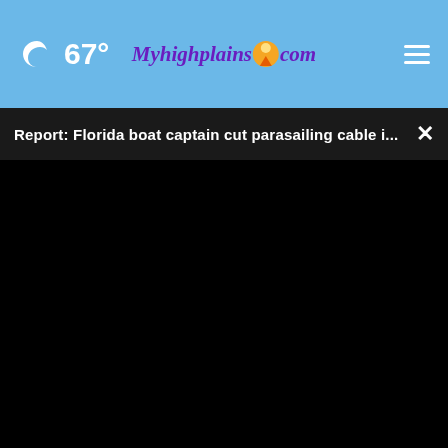67° Myhighplains.com
Report: Florida boat captain cut parasailing cable i...
[Figure (screenshot): Black video player area with no content loaded, showing time 00:00]
[Figure (screenshot): Advertisement banner: TRUSTED & PROFESSIONAL DOG TRAINING (806) 332-7000 K9 Integrity logo with Bernese Mountain Dog photo]